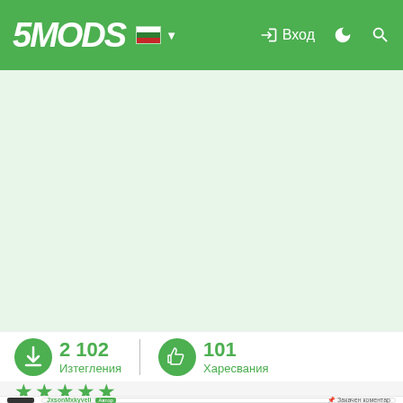5MODS — Вход
[Figure (screenshot): 5MODS website header with green background, logo, Bulgarian flag, login button, dark mode and search icons]
[Figure (photo): Large image area (GTA 5 mod preview) — appears blank/loading in this view]
2 102 Изтегления   101 Харесвания
4.86 / 5 звезди (7 вота)
JxsonMxkyveli Автор   📌 Закачен коментар